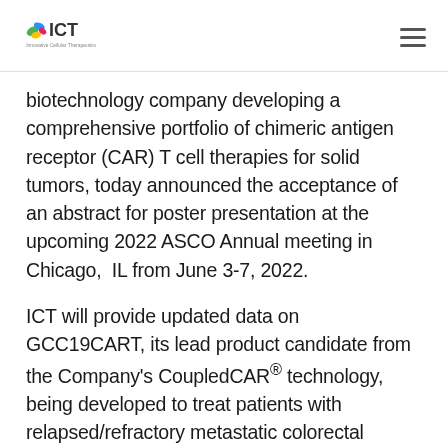ICT — Innovative Cellular Therapeutics logo and navigation menu icon
biotechnology company developing a comprehensive portfolio of chimeric antigen receptor (CAR) T cell therapies for solid tumors, today announced the acceptance of an abstract for poster presentation at the upcoming 2022 ASCO Annual meeting in Chicago,  IL from June 3-7, 2022.
ICT will provide updated data on GCC19CART, its lead product candidate from the Company's CoupledCAR® technology, being developed to treat patients with relapsed/refractory metastatic colorectal cancer (R/R mCRC) in a